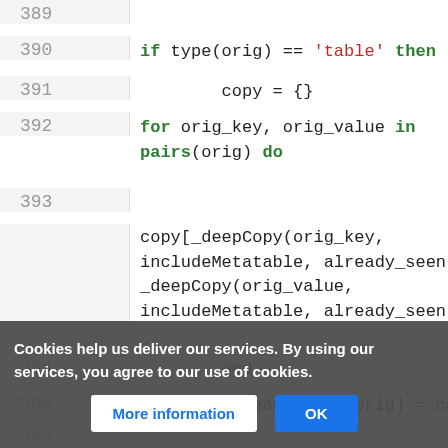[Figure (screenshot): Code editor screenshot showing Lua code lines 389–399 with syntax highlighting. Keywords 'if', 'for', 'in', 'do', 'end', 'then' in bold green; string 'table' in red. Lines show a deepCopy function implementation. A cookie consent banner overlays the bottom portion of the image with 'Cookies help us deliver our services. By using our services, you agree to our use of cookies.' text and two buttons: 'More information' and 'OK'.]